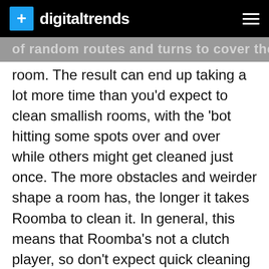digitaltrends
of random routes and turns to cover the room. The result can end up taking a lot more time than you'd expect to clean smallish rooms, with the 'bot hitting some spots over and over while others might get cleaned just once. The more obstacles and weirder shape a room has, the longer it takes Roomba to clean it. In general, this means that Roomba's not a clutch player, so don't expect quick cleaning miracles when the in-laws are on the way for a surprise visit.